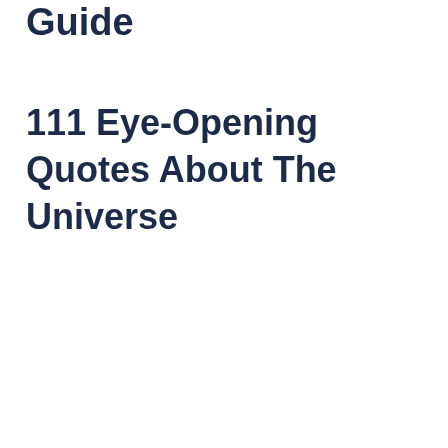Guide
111 Eye-Opening Quotes About The Universe